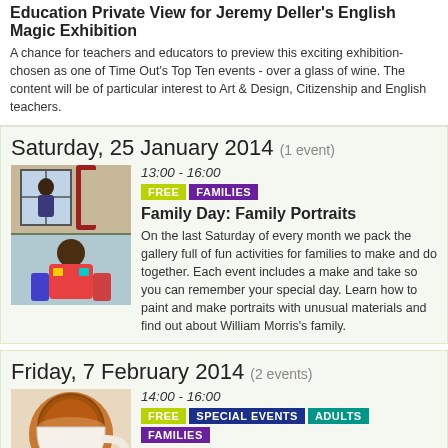Education Private View for Jeremy Deller's English Magic Exhibition
A chance for teachers and educators to preview this exciting exhibition-chosen as one of Time Out's Top Ten events  - over a glass of wine.  The content will be of particular interest to Art & Design, Citizenship and English teachers.
Saturday, 25 January 2014 (1 event)
[Figure (photo): Photo of two children, one looking out a window and one in colorful clothes]
13:00 - 16:00
FREE FAMILIES
Family Day: Family Portraits
On the last Saturday of every month we pack the gallery full of fun activities for families to make and do together. Each event includes a make and take so you can remember your special day. Learn how to paint and make portraits with unusual materials and find out about William Morris's family.
Friday, 7 February 2014 (2 events)
[Figure (photo): Photo of a cup of tea with saucer]
14:00 - 16:00
FREE SPECIAL EVENTS ADULTS FAMILIES
Tea tasting
Learn all about tea and how to brew the perfect cuppa